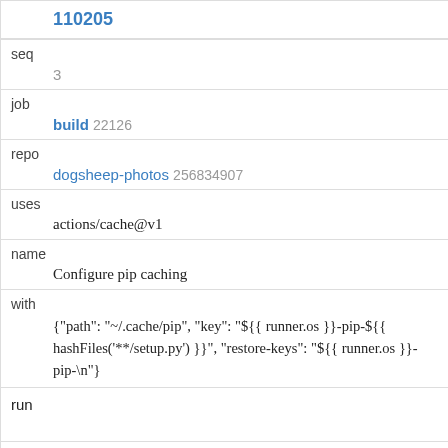110205
seq
3
job
build 22126
repo
dogsheep-photos 256834907
uses
actions/cache@v1
name
Configure pip caching
with
{"path": "~/.cache/pip", "key": "${{ runner.os }}-pip-${{ hashFiles('**/setup.py') }}", "restore-keys": "${{ runner.os }}-pip-\n"}
run
env
if